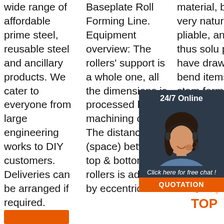wide range of affordable prime steel, reusable steel and ancillary products. We cater to everyone from large engineering works to DIY customers. Deliveries can be arranged if required.
Baseplate Roll Forming Line. Equipment overview: The rollers' support is a whole one, all the dimensions is processed by machining centre. The distance (space) between top & bottom rollers is adjusted by eccentric
material, by its very nature is pliable, and thus solut prod have draw bend items stamp form furniture, water heater skins, home appliances, shelf brackets
[Figure (infographic): Chat widget overlay with '24/7 Online' header, photo of woman with headset, 'Click here for free chat!' text, and orange QUOTATION button]
[Figure (infographic): TOP scroll-to-top button with orange dots above orange TOPtext]